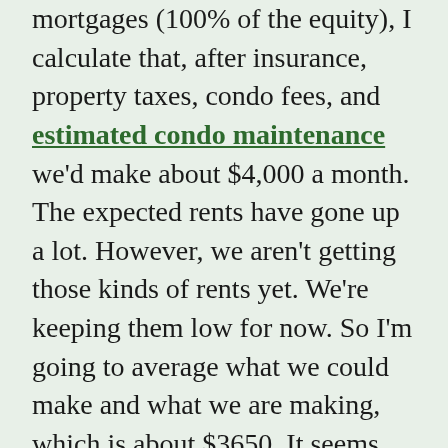mortgages (100% of the equity), I calculate that, after insurance, property taxes, condo fees, and estimated condo maintenance we'd make about $4,000 a month. The expected rents have gone up a lot. However, we aren't getting those kinds of rents yet. We're keeping them low for now. So I'm going to average what we could make and what we are making, which is about $3650. It seems like low-lying fruit that we could get there and our tenants would still be happy that they are getting a bargain.
If you multiply our expected net rent by